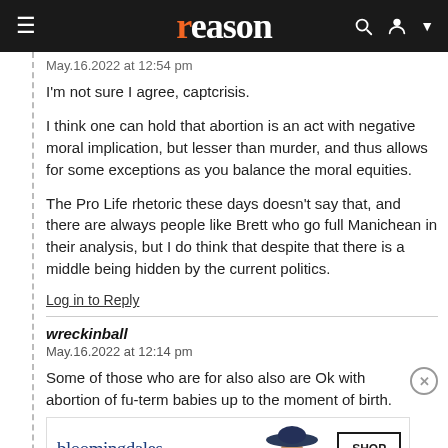reason
May.16.2022 at 12:54 pm
I'm not sure I agree, captcrisis.

I think one can hold that abortion is an act with negative moral implication, but lesser than murder, and thus allows for some exceptions as you balance the moral equities.

The Pro Life rhetoric these days doesn't say that, and there are always people like Brett who go full Manichean in their analysis, but I do think that despite that there is a middle being hidden by the current politics.
Log in to Reply
wreckinball
May.16.2022 at 12:14 pm
Some of those who are for also also are Ok with abortion of fu- term babies up to the moment of birth.
[Figure (other): Bloomingdale's advertisement: 'View Today's Top Deals!' with SHOP NOW > button and image of woman in hat]
Sarcast0